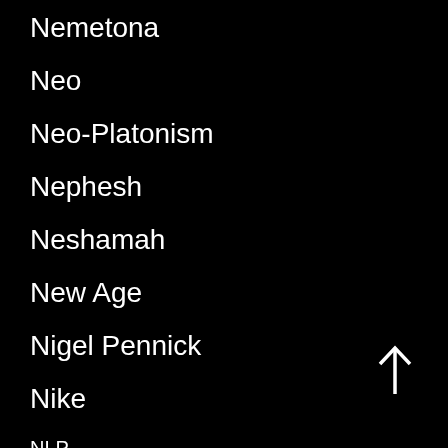Nemetona
Neo
Neo-Platonism
Nephesh
Neshamah
New Age
Nigel Pennick
Nike
NLP
noble savage
noetic reality
Norman Vincent Peale